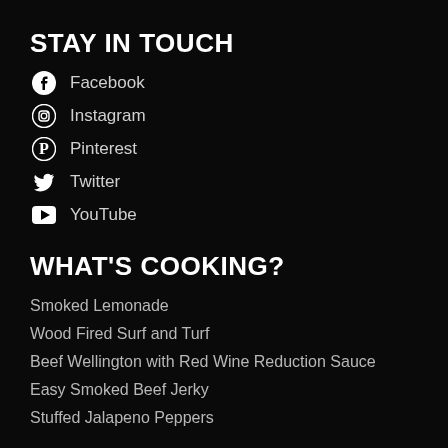STAY IN TOUCH
Facebook
Instagram
Pinterest
Twitter
YouTube
WHAT'S COOKING?
Smoked Lemonade
Wood Fired Surf and Turf
Beef Wellington with Red Wine Reduction Sauce
Easy Smoked Beef Jerky
Stuffed Jalapeno Peppers
DON'T MISS OUT